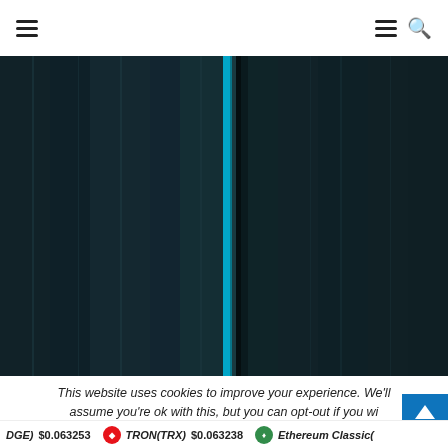Navigation header with hamburger menus and search icon
[Figure (other): Dark themed vertical bar chart or data visualization with teal/cyan highlighted column against dark background, showing cryptocurrency price/volume data]
This website uses cookies to improve your experience. We'll assume you're ok with this, but you can opt-out if you wi...
DGE) $0.063253  TRON(TRX) $0.063238  Ethereum Classic(